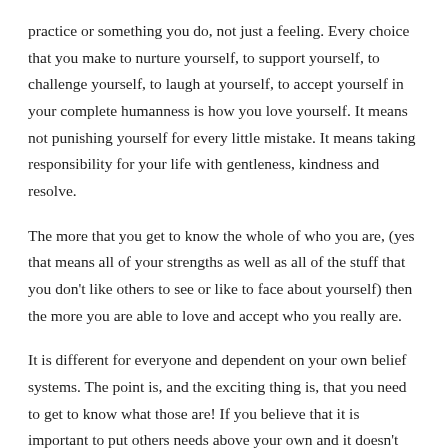practice or something you do, not just a feeling. Every choice that you make to nurture yourself, to support yourself, to challenge yourself, to laugh at yourself, to accept yourself in your complete humanness is how you love yourself. It means not punishing yourself for every little mistake. It means taking responsibility for your life with gentleness, kindness and resolve.
The more that you get to know the whole of who you are, (yes that means all of your strengths as well as all of the stuff that you don't like others to see or like to face about yourself) then the more you are able to love and accept who you really are.
It is different for everyone and dependent on your own belief systems. The point is, and the exciting thing is, that you need to get to know what those are! If you believe that it is important to put others needs above your own and it doesn't make you